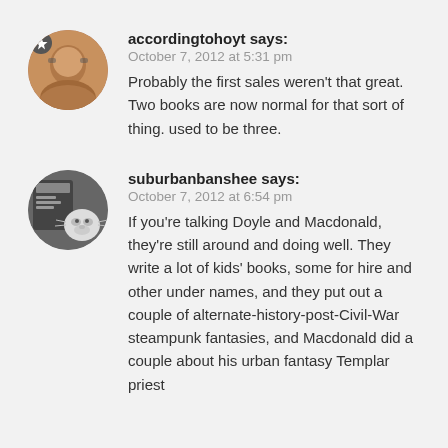[Figure (photo): Round avatar photo of accordingtohoyt user with star badge]
accordingtohoyt says:
October 7, 2012 at 5:31 pm
Probably the first sales weren't that great. Two books are now normal for that sort of thing. used to be three.
[Figure (photo): Round avatar photo of suburbanbanshee user showing a cat/animal scene]
suburbanbanshee says:
October 7, 2012 at 6:54 pm
If you're talking Doyle and Macdonald, they're still around and doing well. They write a lot of kids' books, some for hire and other under names, and they put out a couple of alternate-history-post-Civil-War steampunk fantasies, and Macdonald did a couple about his urban fantasy Templar priest